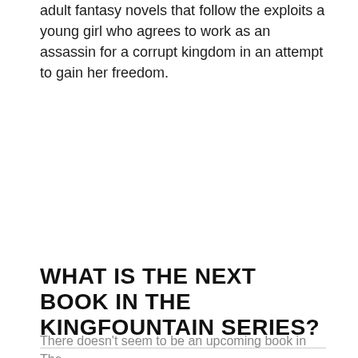adult fantasy novels that follow the exploits a young girl who agrees to work as an assassin for a corrupt kingdom in an attempt to gain her freedom.
WHAT IS THE NEXT BOOK IN THE KINGFOUNTAIN SERIES?
There doesn't seem to be an upcoming book in The